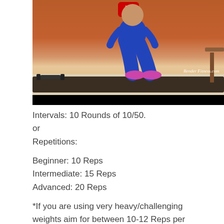[Figure (photo): Video thumbnail showing a person in blue workout pants doing a squat exercise on a mat. A dumbbell is visible on the left side, a wooden table on the right. The background is an orange/terracotta wall. A YouTube-style red play button is at the top center. The watermark reads 'BenderFitness.com'. A black bar is at the bottom of the video frame.]
Intervals: 10 Rounds of 10/50.
or
Repetitions:

Beginner: 10 Reps
Intermediate: 15 Reps
Advanced: 20 Reps

*If you are using very heavy/challenging weights aim for between 10-12 Reps per